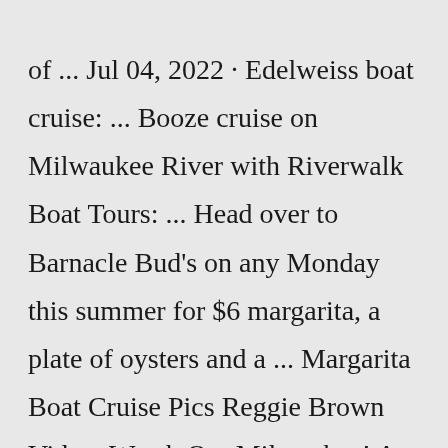of ... Jul 04, 2022 · Edelweiss boat cruise: ... Booze cruise on Milwaukee River with Riverwalk Boat Tours: ... Head over to Barnacle Bud's on any Monday this summer for $6 margarita, a plate of oysters and a ... Margarita Boat Cruise Pics Reggie Brown Video: Watch Out Milwaukee! A New Selfie Photography Studio Is Coming! By Reggie Brown Jun 2, 2021. Milwaukee is getting a brand new photography studio!